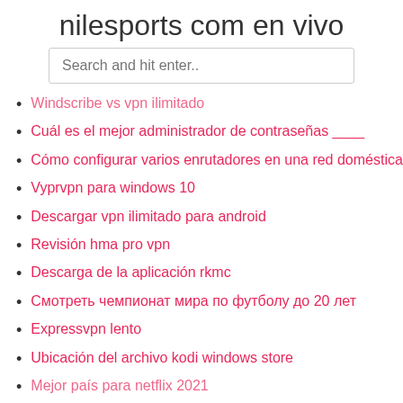nilesports com en vivo
Windscribe vs vpn ilimitado
Cuál es el mejor administrador de contraseñas ____
Cómo configurar varios enrutadores en una red doméstica
Vyprvpn para windows 10
Descargar vpn ilimitado para android
Revisión hma pro vpn
Descarga de la aplicación rkmc
Смотреть чемпионат мира по футболу до 20 лет
Expressvpn lento
Ubicación del archivo kodi windows store
Mejor país para netflix 2021